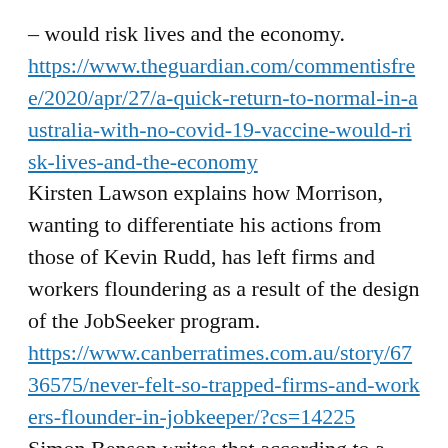– would risk lives and the economy.
https://www.theguardian.com/commentisfree/2020/apr/27/a-quick-return-to-normal-in-australia-with-no-covid-19-vaccine-would-risk-lives-and-the-economy
Kirsten Lawson explains how Morrison, wanting to differentiate his actions from those of Kevin Rudd, has left firms and workers floundering as a result of the design of the JobSeeker program.
https://www.canberratimes.com.au/story/6736575/never-felt-so-trapped-firms-and-workers-flounder-in-jobkeeper/?cs=14225
Simon Benson writes that according to a special Newspoll, state premiers are riding a wave of unprecedented popularity, earning